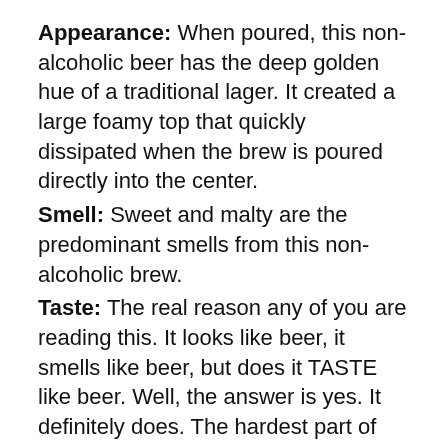Appearance: When poured, this non-alcoholic beer has the deep golden hue of a traditional lager. It created a large foamy top that quickly dissipated when the brew is poured directly into the center.
Smell: Sweet and malty are the predominant smells from this non-alcoholic brew.
Taste: The real reason any of you are reading this. It looks like beer, it smells like beer, but does it TASTE like beer. Well, the answer is yes. It definitely does. The hardest part of creating a non-alcoholic beer, in our humble opinion, is cutting the sweetness brought on by the malts with something other than alcohol. This beer accomplishes that fairly